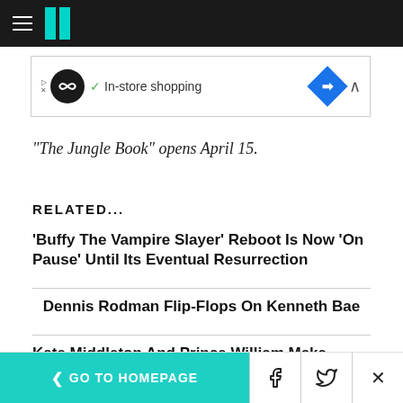HuffPost navigation bar with hamburger menu and logo
[Figure (other): Advertisement banner: circular logo with infinity symbol, checkmark, 'In-store shopping' text, blue diamond icon with arrow]
"The Jungle Book" opens April 15.
RELATED...
'Buffy The Vampire Slayer' Reboot Is Now 'On Pause' Until Its Eventual Resurrection
Dennis Rodman Flip-Flops On Kenneth Bae
Kate Middleton And Prince William Make Major Announcement About Their Kids' Education
< GO TO HOMEPAGE | Facebook | Twitter | X